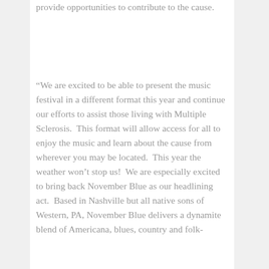provide opportunities to contribute to the cause.
“We are excited to be able to present the music festival in a different format this year and continue our efforts to assist those living with Multiple Sclerosis.  This format will allow access for all to enjoy the music and learn about the cause from wherever you may be located.  This year the weather won’t stop us!  We are especially excited to bring back November Blue as our headlining act.  Based in Nashville but all native sons of Western, PA, November Blue delivers a dynamite blend of Americana, blues, country and folk-